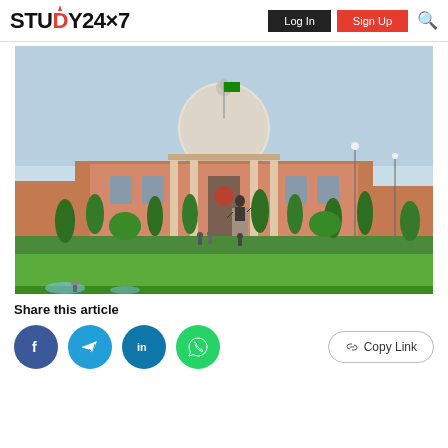STUDY24×7  Log In  Sign Up
[Figure (photo): Photograph of the Supreme Court of India building — a grand red sandstone and white dome structure with manicured lawns, cypress trees, a statue on a pedestal, and a clear sky above. An Indian flag is visible on the building.]
Share this article
[Figure (infographic): Social share buttons: Facebook (dark blue circle with f), Telegram (light blue circle with paper plane), LinkedIn (teal circle with in), WhatsApp (green circle with phone). Copy Link button on the right.]